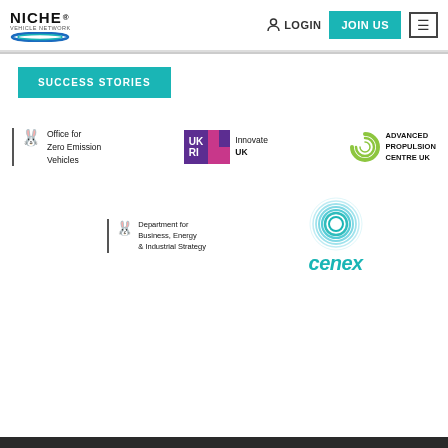[Figure (logo): Niche Vehicle Network logo with stylized swirl]
LOGIN
JOIN US
≡
SUCCESS STORIES
[Figure (logo): Office for Zero Emission Vehicles logo with UK government crest]
[Figure (logo): Innovate UK / UKRI logo]
[Figure (logo): Advanced Propulsion Centre UK logo with spiral C mark]
[Figure (logo): Department for Business, Energy & Industrial Strategy logo with UK government crest]
[Figure (logo): Cenex logo with blue spiral ring and teal wordmark]